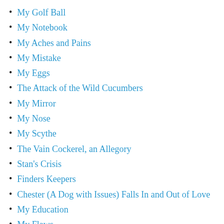My Golf Ball
My Notebook
My Aches and Pains
My Mistake
My Eggs
The Attack of the Wild Cucumbers
My Mirror
My Nose
My Scythe
The Vain Cockerel, an Allegory
Stan's Crisis
Finders Keepers
Chester (A Dog with Issues) Falls In and Out of Love
My Education
My Flaws